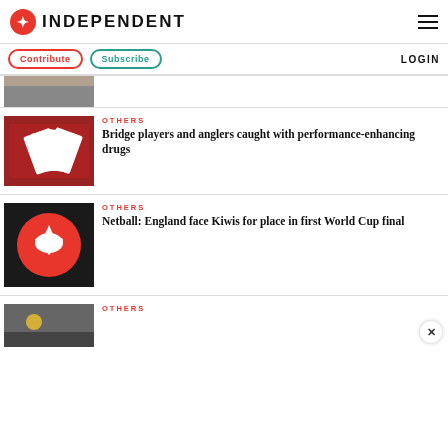INDEPENDENT
Contribute | Subscribe | LOGIN
[Figure (photo): Partial image at top, cropped]
OTHERS
Bridge players and anglers caught with performance-enhancing drugs
OTHERS
Netball: England face Kiwis for place in first World Cup final
OTHERS
[Figure (photo): Partial image at bottom, cropped]